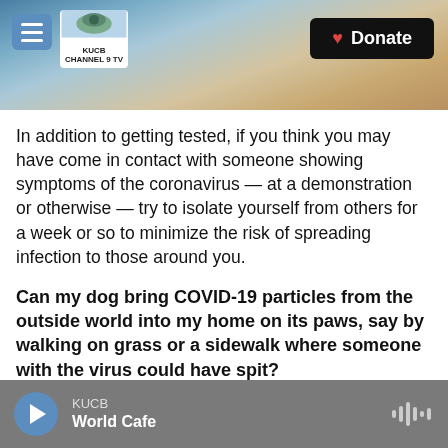[Figure (screenshot): Website header banner with mountain/landscape background photo, hamburger menu button, KUCB Channel 9 TV logo, and black Donate button with heart icon]
In addition to getting tested, if you think you may have come in contact with someone showing symptoms of the coronavirus — at a demonstration or otherwise — try to isolate yourself from others for a week or so to minimize the risk of spreading infection to those around you.
Can my dog bring COVID-19 particles from the outside world into my home on its paws, say by walking on grass or a sidewalk where someone with the virus could have spit?
The experts we spoke to as well as the Centers for
KUCB  World Cafe